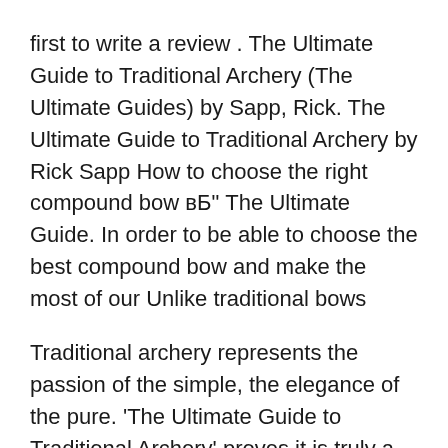first to write a review . The Ultimate Guide to Traditional Archery (The Ultimate Guides) by Sapp, Rick. The Ultimate Guide to Traditional Archery by Rick Sapp How to choose the right compound bow вБ" The Ultimate Guide. In order to be able to choose the best compound bow and make the most of our Unlike traditional bows
Traditional archery represents the passion of the simple, the elegance of the pure. 'The Ultimate Guide to Traditional Archery' proves it is truly a sport for the ages. Get this from a library! The ultimate guide to traditional archery. [Rick Sapp] -- Traditional archery is spoken in every language, in every culture. Whether you